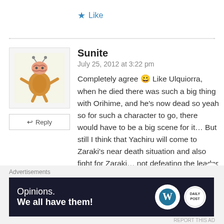★ Like
[Figure (illustration): Avatar illustration: cartoon orange gingerbread-man-like character with a pink brain on top, arms and legs outstretched, with antenna-like features]
↩ Reply
Sunite
July 25, 2012 at 3:22 pm
Completely agree 😀 Like Ulquiorra, when he died there was such a big thing with Orihime, and he's now dead so yeah so for such a character to go, there would have to be a big scene for it… But still I think that Yachiru will come to Zaraki's near death situation and also fight for Zaraki… not defeating the leader but scaring them off. As Zaraki drifts off, past memories arrive etc… Zaraki dies and Yachiru
Advertisements
[Figure (infographic): Dark blue advertisement banner with text 'Opinions. We all have them!' and WordPress and Daily Post logos on the right side]